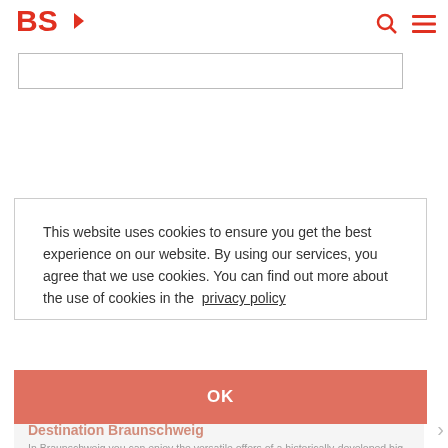BS (logo)
[Figure (screenshot): Search bar input field with search icon and hamburger menu icon in red]
This website uses cookies to ensure you get the best experience on our website. By using our services, you agree that we use cookies. You can find out more about the use of cookies in the privacy policy
OK
Destination Braunschweig
In Braunschweig you can enjoy the versatile offers of a historically-developed big city with the special charm of a vibrant city centre and green recreational oases. More